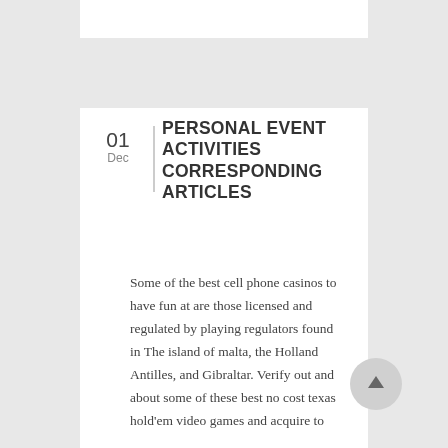PERSONAL EVENT ACTIVITIES CORRESPONDING ARTICLES
Some of the best cell phone casinos to have fun at are those licensed and regulated by playing regulators found in The island of malta, the Holland Antilles, and Gibraltar. Verify out and about some of these best no cost texas hold'em video games and acquire to